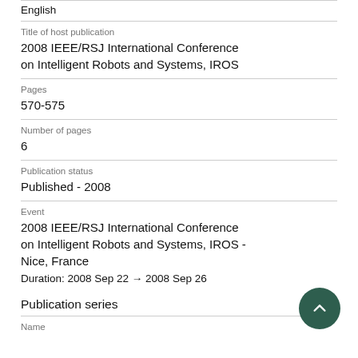English
Title of host publication
2008 IEEE/RSJ International Conference on Intelligent Robots and Systems, IROS
Pages
570-575
Number of pages
6
Publication status
Published - 2008
Event
2008 IEEE/RSJ International Conference on Intelligent Robots and Systems, IROS - Nice, France
Duration: 2008 Sep 22 → 2008 Sep 26
Publication series
Name